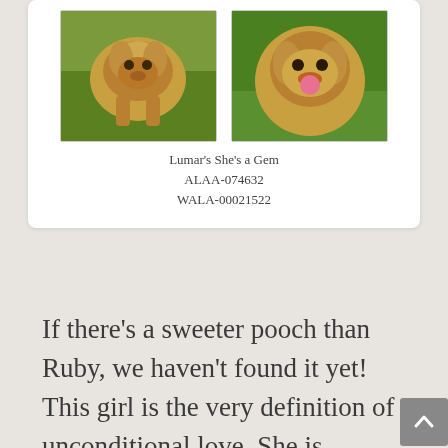[Figure (photo): Two photos of a red/golden Labradoodle dog side by side. Left photo shows the dog full body on grass. Right photo shows a close-up of the dog's face with tongue out.]
Lumar's She's a Gem
ALAA-074632
WALA-00021522
If there's a sweeter pooch than Ruby, we haven't found it yet! This girl is the very definition of unconditional love. She is happiest when her humans are right by her side, and she follows her human kids throughout the house! Ruby is out of our Finn and Clover, and she got the best qualities from both of her parents. She is easy-going, rock-solid, friendly and